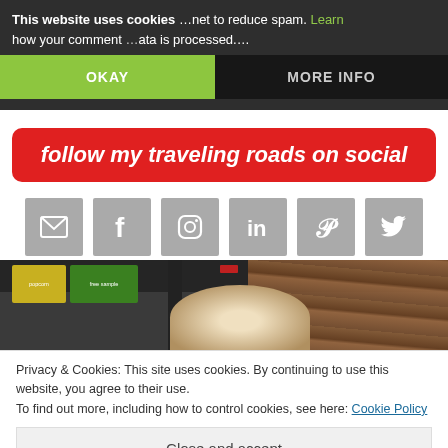This website uses cookies
...net to reduce spam. Learn how your comment data is processed.
OKAY
MORE INFO
follow my traveling roads on social
[Figure (infographic): Six social media icon buttons (email, facebook, instagram, linkedin, pinterest, twitter) on grey square backgrounds]
[Figure (photo): Person with blonde/grey hair seen from behind, standing in front of a store with signs including 'free sample' and 'popcorn', wood panel wall visible]
Privacy & Cookies: This site uses cookies. By continuing to use this website, you agree to their use.
To find out more, including how to control cookies, see here: Cookie Policy
Close and accept